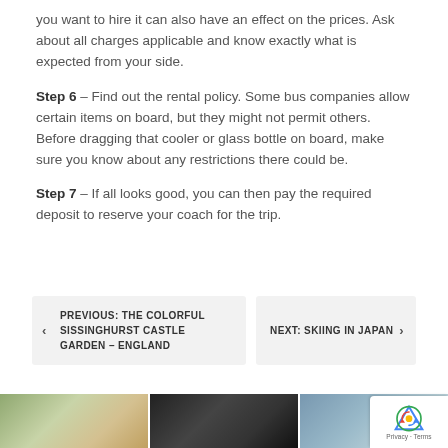you want to hire it can also have an effect on the prices. Ask about all charges applicable and know exactly what is expected from your side.
Step 6 – Find out the rental policy. Some bus companies allow certain items on board, but they might not permit others. Before dragging that cooler or glass bottle on board, make sure you know about any restrictions there could be.
Step 7 – If all looks good, you can then pay the required deposit to reserve your coach for the trip.
PREVIOUS: THE COLORFUL SISSINGHURST CASTLE GARDEN – ENGLAND
NEXT: SKIING IN JAPAN
[Figure (photo): Three thumbnail images of limousines/stretch vehicles at bottom of page]